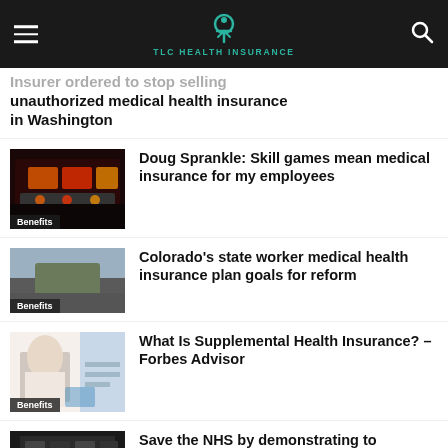TLC HEALTH INSURANCE
Insurer ordered to stop selling unauthorized medical health insurance in Washington
[Figure (photo): Slot machine / skill game terminal with glowing lights and casino imagery; 'Benefits' badge overlaid]
Doug Sprankle: Skill games mean medical insurance for my employees
[Figure (photo): Rocky mountain landscape; 'Benefits' badge overlaid]
Colorado's state worker medical health insurance plan goals for reform
[Figure (photo): Medical/healthcare professional writing; 'Benefits' badge overlaid]
What Is Supplemental Health Insurance? – Forbes Advisor
[Figure (photo): Slot machine / gaming machine interior; partial view at bottom]
Save the NHS by demonstrating to